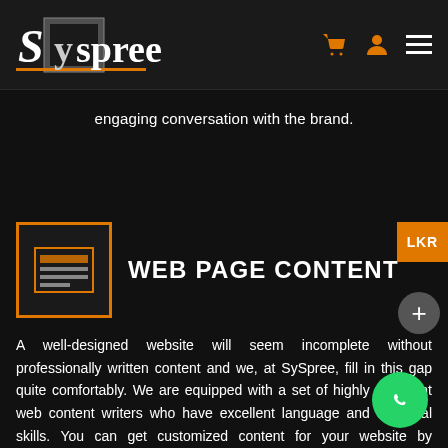[Figure (logo): Syspree logo in white text on dark background with cart, user, and menu icons in orange/white]
engaging conversation with the brand.
WEB PAGE CONTENT
A well-designed website will seem incomplete without professionally written content and we, at SySpree, fill in this gap quite comfortably. We are equipped with a set of highly proficient web content writers who have excellent language and technical skills. You can get customized content for your website by engaging our services and receiving content within a time-bound schedule.